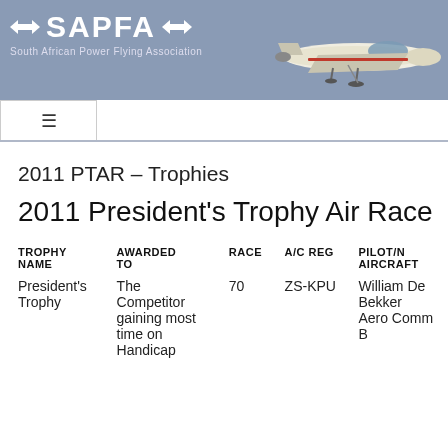SAPFA – South African Power Flying Association
2011 PTAR – Trophies
2011 President's Trophy Air Race
| TROPHY NAME | AWARDED TO | RACE | A/C REG | PILOT/N AIRCRAFT |
| --- | --- | --- | --- | --- |
| President's Trophy | The Competitor gaining most time on Handicap | 70 | ZS-KPU | William De Bekker Aero Comm B |